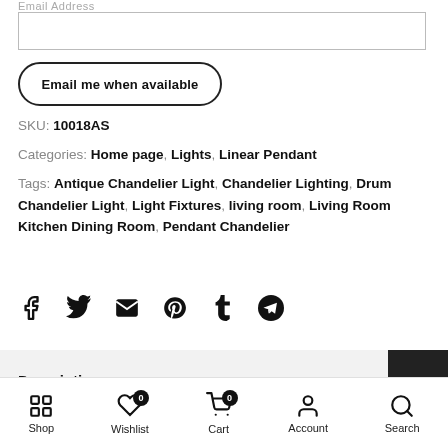Email Address
Email me when available
SKU: 10018AS
Categories: Home page, Lights, Linear Pendant
Tags: Antique Chandelier Light, Chandelier Lighting, Drum Chandelier Light, Light Fixtures, living room, Living Room Kitchen Dining Room, Pendant Chandelier
[Figure (infographic): Social share icons: Facebook, Twitter, Email, Pinterest, Tumblr, Telegram]
Description
Shop  Wishlist  Cart  Account  Search